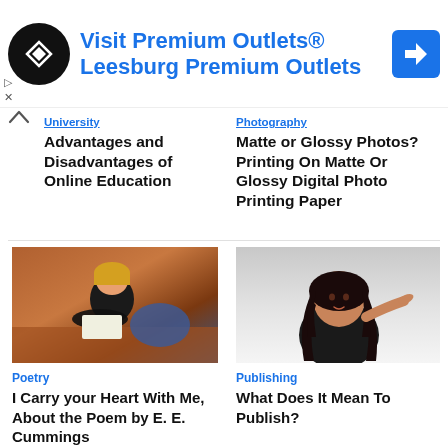[Figure (screenshot): Advertisement banner for Visit Premium Outlets - Leesburg Premium Outlets with logo and navigation icon]
University
Advantages and Disadvantages of Online Education
Photography
Matte or Glossy Photos? Printing On Matte Or Glossy Digital Photo Printing Paper
[Figure (photo): Woman with short blonde hair sitting on floor writing in notebook, seen from behind]
Poetry
I Carry your Heart With Me, About the Poem by E. E. Cummings
[Figure (photo): Young woman with long dark hair pointing finger, smiling, on white background]
Publishing
What Does It Mean To Publish?